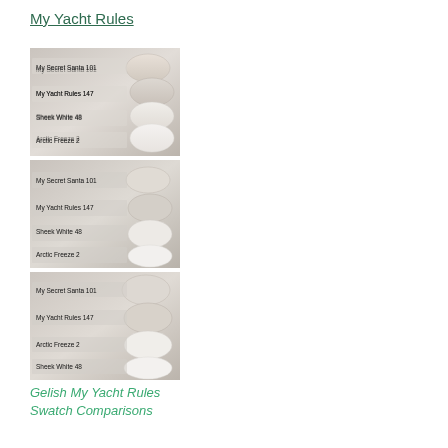My Yacht Rules
[Figure (photo): Photo of nail swatches on nail tips labeled: My Secret Santa 101, My Yacht Rules 147, Sheek White 48, Arctic Freeze 2]
[Figure (photo): Photo of nail swatches on nail tips labeled: My Secret Santa 101, My Yacht Rules 147, Sheek White 48, Arctic Freeze 2 (closer/different angle)]
[Figure (photo): Photo of nail swatches on nail tips labeled: My Secret Santa 101, My Yacht Rules 147, Arctic Freeze 2, Sheek White 48]
Gelish My Yacht Rules Swatch Comparisons